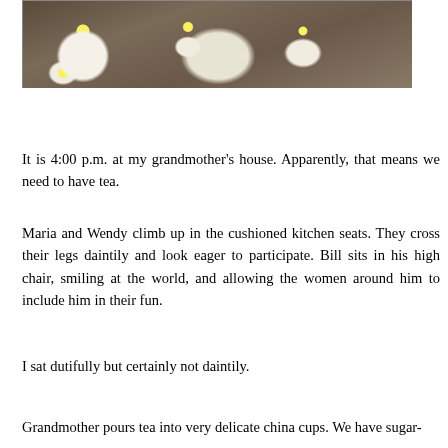[Figure (photo): A decorative china teacup and saucer with floral daisy pattern on a wooden surface, with white daisy flowers scattered around.]
It is 4:00 p.m. at my grandmother's house. Apparently, that means we need to have tea.
Maria and Wendy climb up in the cushioned kitchen seats. They cross their legs daintily and look eager to participate. Bill sits in his high chair, smiling at the world, and allowing the women around him to include him in their fun.
I sat dutifully but certainly not daintily.
Grandmother pours tea into very delicate china cups. We have sugar-